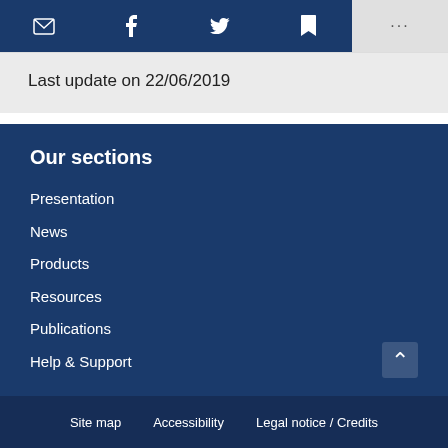[Figure (screenshot): Social sharing toolbar with email, Facebook, Twitter, bookmark icons on dark blue background, and a more (...) button on light gray]
Last update on 22/06/2019
Our sections
Presentation
News
Products
Resources
Publications
Help & Support
Site map   Accessibility   Legal notice / Credits